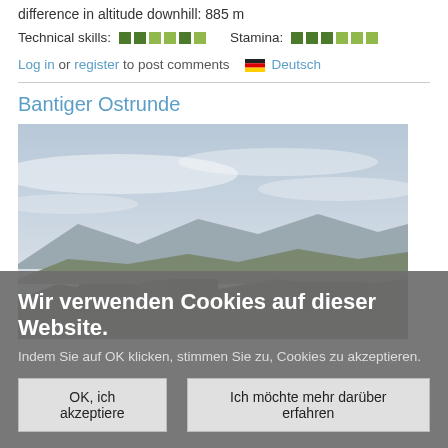difference in altitude downhill: 885 m
Technical skills: [squares] Stamina: [squares]
Log in or register to post comments  Deutsch
Bantiger Ostrunde
[Figure (photo): Landscape photo showing rolling hills, forests, and a wide sky at dusk or dawn with layered clouds and distant mountain silhouettes.]
Wir verwenden Cookies auf dieser Website.
Indem Sie auf OK klicken, stimmen Sie zu, Cookies zu akzeptieren.
OK, ich akzeptiere   Ich möchte mehr darüber erfahren